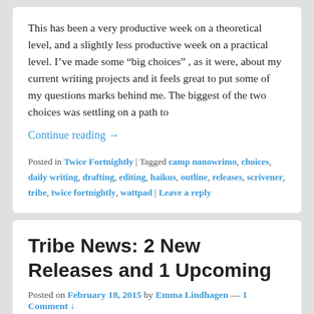This has been a very productive week on a theoretical level, and a slightly less productive week on a practical level. I've made some “big choices” , as it were, about my current writing projects and it feels great to put some of my questions marks behind me. The biggest of the two choices was settling on a path to
Continue reading →
Posted in Twice Fortnightly | Tagged camp nanowrimo, choices, daily writing, drafting, editing, haikus, outline, releases, scrivener, tribe, twice fortnightly, wattpad | Leave a reply
Tribe News: 2 New Releases and 1 Upcoming
Posted on February 18, 2015 by Emma Lindhagen — 1 Comment ↓
One of the things that I love most about being a writer